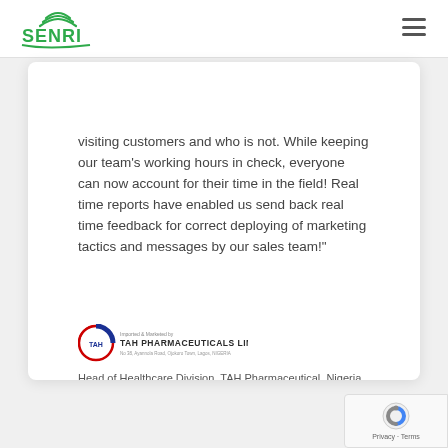SENRI
visiting customers and who is not. While keeping our team's working hours in check, everyone can now account for their time in the field! Real time reports have enabled us send back real time feedback for correct deploying of marketing tactics and messages by our sales team!"
[Figure (logo): TAH Pharmaceuticals Limited logo with circular emblem and text 'Imported & Marketed by TAH PHARMACEUTICALS LIMITED, No 38, Ayannola Road, Ojokoro Town, Lagos, NIGERIA']
Head of Healthcare Division, TAH Pharmaceutical, Nigeria